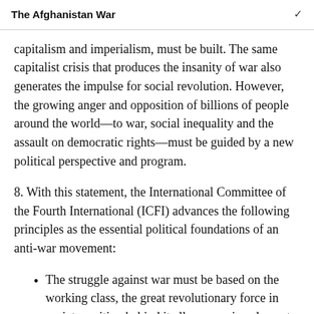The Afghanistan War
capitalism and imperialism, must be built. The same capitalist crisis that produces the insanity of war also generates the impulse for social revolution. However, the growing anger and opposition of billions of people around the world—to war, social inequality and the assault on democratic rights—must be guided by a new political perspective and program.
8. With this statement, the International Committee of the Fourth International (ICFI) advances the following principles as the essential political foundations of an anti-war movement:
The struggle against war must be based on the working class, the great revolutionary force in society, uniting behind it all progressive elements in the population.